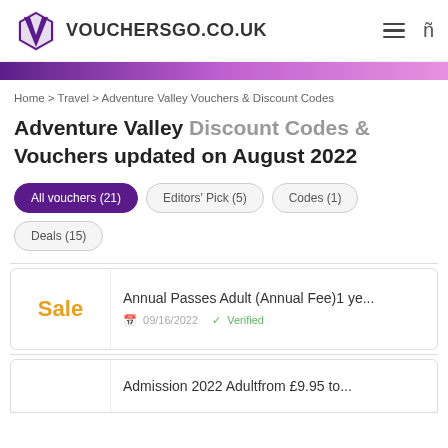VOUCHERSGO.CO.UK
Home > Travel > Adventure Valley Vouchers & Discount Codes
Adventure Valley Discount Codes & Vouchers updated on August 2022
All vouchers (21)
Editors' Pick (5)
Codes (1)
Deals (15)
Annual Passes Adult (Annual Fee)1 ye...
09/16/2022   Verified
Admission 2022 Adultfrom £9.95 to...